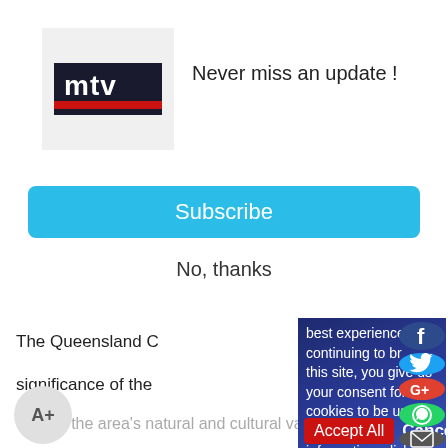[Figure (logo): MTV Lebanon logo — white background with blue rectangle containing 'mtv' text in white bold font with a red underline stripe]
Never miss an update !
Subscribe
No, thanks
The Queensland C
significance of the
Andrew Piccone, th
"Returning these pa
the area's natural and cultural values.
best experience. By continuing to browse this site, you give us your consent for cookies to be used. For more information, click here.
Accept All
Cancel